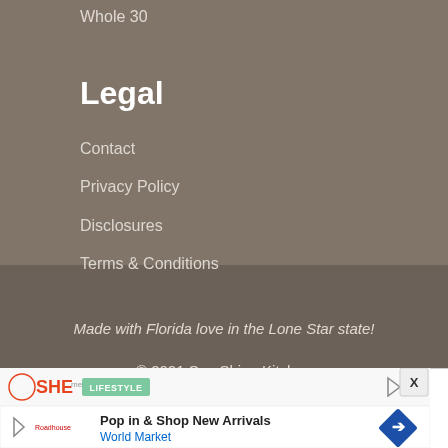Whole 30
Legal
Contact
Privacy Policy
Disclosures
Terms & Conditions
Made with Florida love in the Lone Star state!
© 2021 Son Shine Kitchen
[Figure (screenshot): Advertisement banner with SHE media logo, lifestyle button, play button, and World Market ad saying Pop in & Shop New Arrivals with close button]